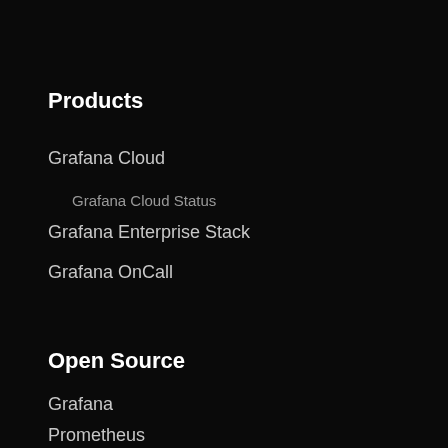Products
Grafana Cloud
Grafana Cloud Status
Grafana Enterprise Stack
Grafana OnCall
Open Source
Grafana
Prometheus